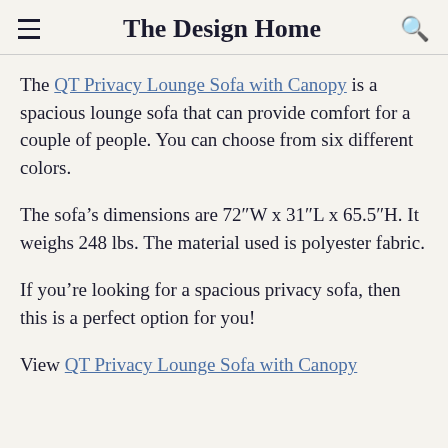The Design Home
The QT Privacy Lounge Sofa with Canopy is a spacious lounge sofa that can provide comfort for a couple of people. You can choose from six different colors.
The sofa's dimensions are 72″W x 31″L x 65.5″H. It weighs 248 lbs. The material used is polyester fabric.
If you’re looking for a spacious privacy sofa, then this is a perfect option for you!
View QT Privacy Lounge Sofa with Canopy